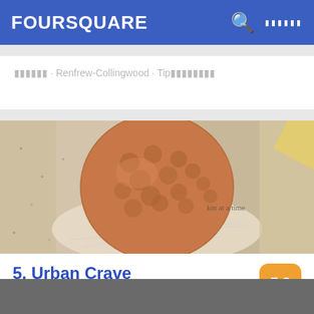FOURSQUARE
■■■■■■ · Renfrew-Collingwood · Tip■■■■■■■■
[Figure (photo): Close-up photo of a copper/rose-gold hammered metal cup (Moscow mule mug) sitting on a white napkin on a granite countertop. Partial text visible reading 'kin at a time'.]
5. Urban Crave
Terminal 3 (Toronto Pearson International Airport), ■■■■, ON
■■■■■ · Toronto Pearson International Airport · 4■■■■■■■ ■■■■